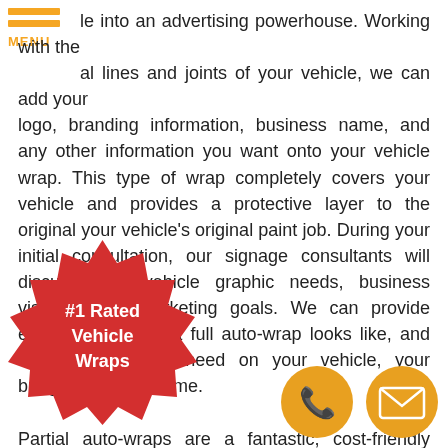MENU
le into an advertising powerhouse. Working with the al lines and joints of your vehicle, we can add your logo, branding information, business name, and any other information you want onto your vehicle wrap. This type of wrap completely covers your vehicle and provides a protective layer to the original your vehicle's original paint job. During your initial consultation, our signage consultants will discuss your vehicle graphic needs, business visibility, and marketing goals. We can provide examples of what a full auto-wrap looks like, and discuss what you need on your vehicle, your budget, and timeframe.

Partial auto-wraps are a fantastic, cost-friendly option that allows you to zone in on specific areas of your vehicle for b...rposes. Whether you are targeting your side ...tailgate, bumper, the back half of your ...m Designs will create the perfect visual look t...ur customer's attention!
[Figure (illustration): Red starburst badge with white text reading '#1 Rated Vehicle Wraps']
[Figure (illustration): Orange circle button with phone/call icon]
[Figure (illustration): Orange circle button with email/envelope icon]